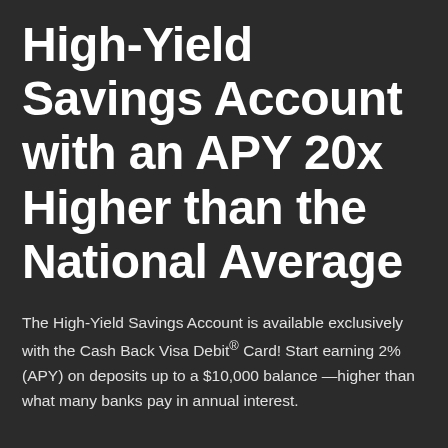High-Yield Savings Account with an APY 20x Higher than the National Average
The High-Yield Savings Account is available exclusively with the Cash Back Visa Debit® Card! Start earning 2% (APY) on deposits up to a $10,000 balance —higher than what many banks pay in annual interest.